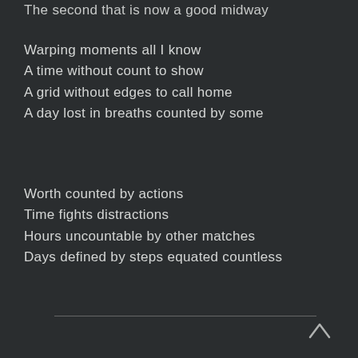The second that is now a good midway
Warping moments all I know
A time without count to show
A grid without edges to call home
A day lost in breaths counted by some
Worth counted by actions
Time fights distractions
Hours uncountable by other matches
Days defined by steps equated countless